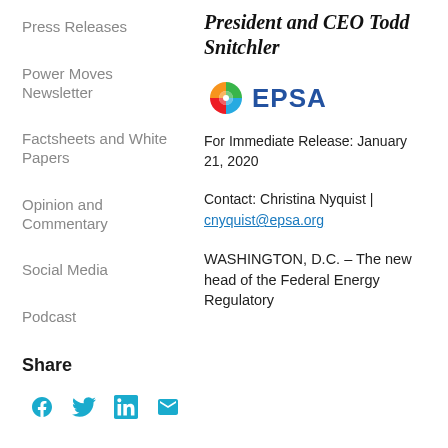Press Releases
Power Moves Newsletter
Factsheets and White Papers
Opinion and Commentary
Social Media
Podcast
Share
[Figure (infographic): Social media share icons: Facebook, Twitter, LinkedIn, Email]
President and CEO Todd Snitchler
[Figure (logo): EPSA logo with colorful pinwheel icon and blue EPSA text]
For Immediate Release: January 21, 2020
Contact: Christina Nyquist | cnyquist@epsa.org
WASHINGTON, D.C. – The new head of the Federal Energy Regulatory